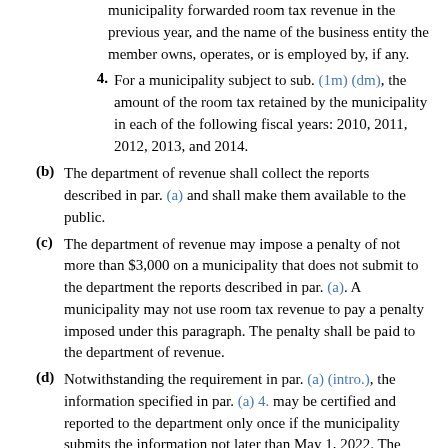municipality forwarded room tax revenue in the previous year, and the name of the business entity the member owns, operates, or is employed by, if any.
4. For a municipality subject to sub. (1m) (dm), the amount of the room tax retained by the municipality in each of the following fiscal years: 2010, 2011, 2012, 2013, and 2014.
(b) The department of revenue shall collect the reports described in par. (a) and shall make them available to the public.
(c) The department of revenue may impose a penalty of not more than $3,000 on a municipality that does not submit to the department the reports described in par. (a). A municipality may not use room tax revenue to pay a penalty imposed under this paragraph. The penalty shall be paid to the department of revenue.
(d) Notwithstanding the requirement in par. (a) (intro.), the information specified in par. (a) 4. may be certified and reported to the department only once if the municipality submits the information not later than May 1, 2022. The department shall make such information available to the public annually in the report described in par. (a) (intro.).
History: 1983 a. 189, 514; 1993 a. 263, 467, 491; 1999 a. 9; 1999 a. 150 ss. 565 to 567; Stats. 1999 s. 66.0615; 2003 a. 203; 2005 a. 135; 2007 a. 20; 2009 a. 2; 2011 a. 18, 32; 2013 a. 20; 2015 a. 55, 60, 301; 2017 a. 59; 2019 a. 10; 2021 a. 55.
A city was authorized to enact a room tax. The gross receipts method was a fair and reasonable way of calculating the tax. Blue Top